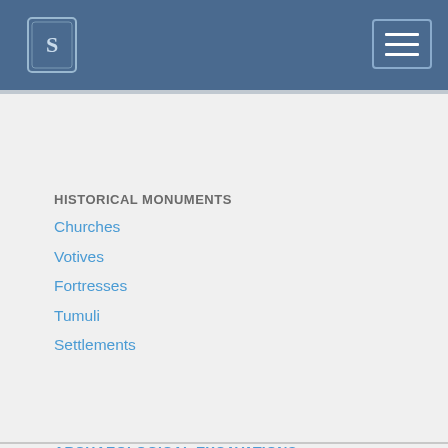Navigation header with logo and hamburger menu
HISTORICAL MONUMENTS
Churches
Votives
Fortresses
Tumuli
Settlements
ARCHAEOLOGICAL EXCAVATIONS
MUSEUM
LIBRARY
HIKING TRAILS
GALLERY